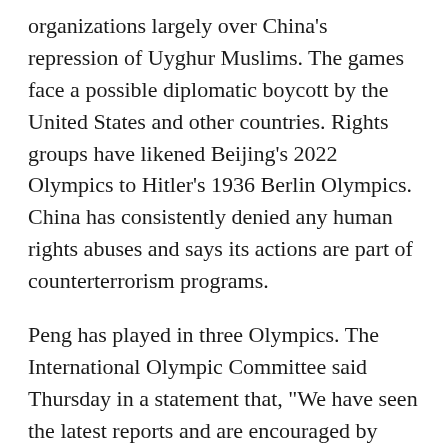organizations largely over China's repression of Uyghur Muslims. The games face a possible diplomatic boycott by the United States and other countries. Rights groups have likened Beijing's 2022 Olympics to Hitler's 1936 Berlin Olympics. China has consistently denied any human rights abuses and says its actions are part of counterterrorism programs.
Peng has played in three Olympics. The International Olympic Committee said Thursday in a statement that, "We have seen the latest reports and are encouraged by assurances that she is safe."
The Switzerland-based IOC, which derives 73% of its income from selling broadcast rights and another 18% from sponsors, has not criticized China, and often repeats that it is only a sports business and has no remit to act on policies of a sovereign state.